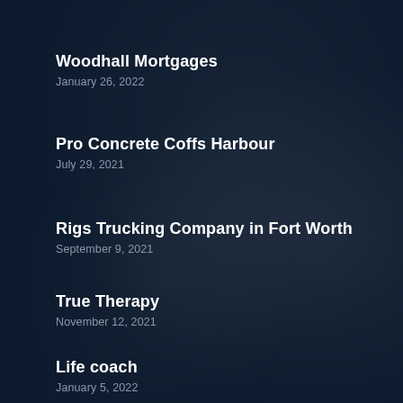Woodhall Mortgages
January 26, 2022
Pro Concrete Coffs Harbour
July 29, 2021
Rigs Trucking Company in Fort Worth
September 9, 2021
True Therapy
November 12, 2021
Life coach
January 5, 2022